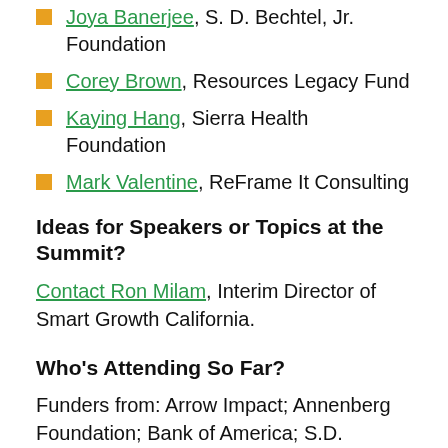Joya Banerjee, S. D. Bechtel, Jr. Foundation
Corey Brown, Resources Legacy Fund
Kaying Hang, Sierra Health Foundation
Mark Valentine, ReFrame It Consulting
Ideas for Speakers or Topics at the Summit?
Contact Ron Milam, Interim Director of Smart Growth California.
Who's Attending So Far?
Funders from: Arrow Impact; Annenberg Foundation; Bank of America; S.D. Bechtel, Jr. Foundation; The California Endowment; The California Wellness Foundation; Central Valley Community Foundation; Common Counsel